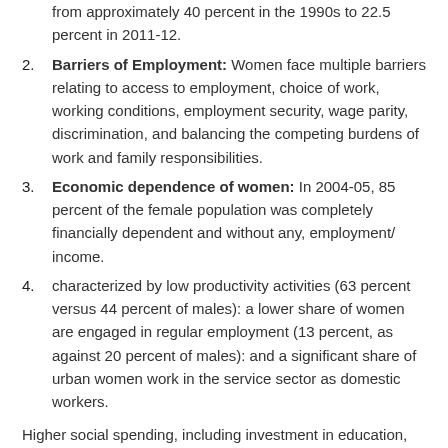from approximately 40 percent in the 1990s to 22.5 percent in 2011-12.
Barriers of Employment: Women face multiple barriers relating to access to employment, choice of work, working conditions, employment security, wage parity, discrimination, and balancing the competing burdens of work and family responsibilities.
Economic dependence of women: In 2004-05, 85 percent of the female population was completely financially dependent and without any, employment/ income.
characterized by low productivity activities (63 percent versus 44 percent of males): a lower share of women are engaged in regular employment (13 percent, as against 20 percent of males): and a significant share of urban women work in the service sector as domestic workers.
Higher social spending, including investment in education, can lead to higher female labour force participation Representation of women in higher cadres of employment (IAKAS) needs to be